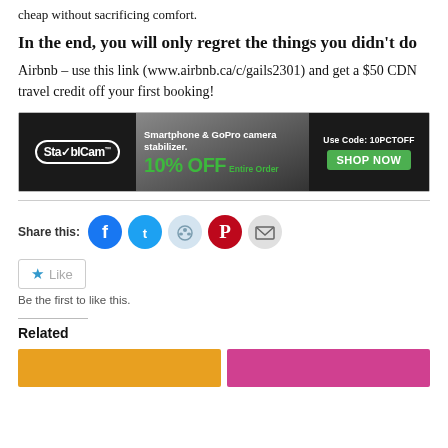cheap without sacrificing comfort.
In the end, you will only regret the things you didn't do
Airbnb – use this link (www.airbnb.ca/c/gails2301) and get a $50 CDN travel credit off your first booking!
[Figure (infographic): StayblCam advertisement banner: Smartphone & GoPro camera stabilizer. 10% OFF Entire Order. Use Code: 10PCTOFF. SHOP NOW button.]
Share this:
Like / Be the first to like this.
Related